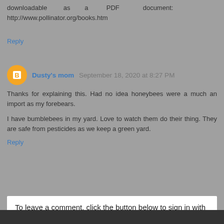downloadable as a PDF document: http://www.pollinator.org/books.htm
Reply
Dusty's mom  September 18, 2020 at 8:27 PM
Thanks for explaining this. Had no idea honeybees were a much an import as my forebears.
I have bumblebees in my yard. Love to watch them do their thing. They are safe from pesticides as we keep a green yard.
Reply
To leave a comment, click the button below to sign in with Google.
SIGN IN WITH GOOGLE